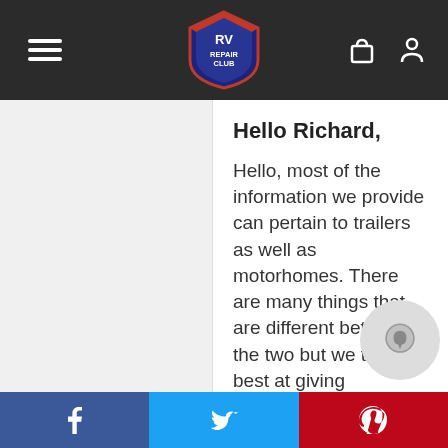RV Repair Club — navigation header
Hello Richard,

Hello, most of the information we provide can pertain to trailers as well as motorhomes. There are many things that are different between the two but we try our best at giving information that can be used all around the board. When weighing each side, the weight distribution will be the same no matter how far apart the tires are. When weighing each wheel position though, they will be different as there may be more weight in the front as opposed to the rear or vice versa. The CAT scales do charge, usually around $10-$15. These are the easiest weigh the trailer. I get an exact wheel position
Facebook | Twitter | Pinterest